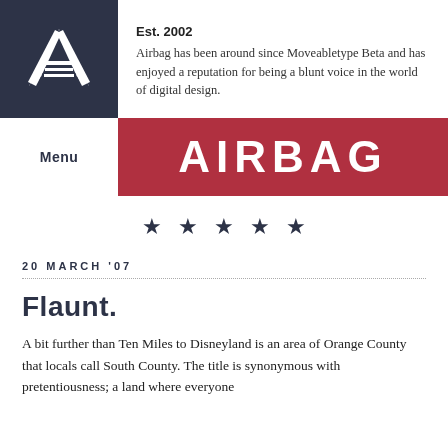[Figure (logo): Airbag logo: white stylized letter A with horizontal stripes on dark navy background]
Est. 2002
Airbag has been around since Moveabletype Beta and has enjoyed a reputation for being a blunt voice in the world of digital design.
Menu
AIRBAG
★ ★ ★ ★ ★
20 MARCH '07
Flaunt.
A bit further than Ten Miles to Disneyland is an area of Orange County that locals call South County. The title is synonymous with pretentiousness; a land where everyone